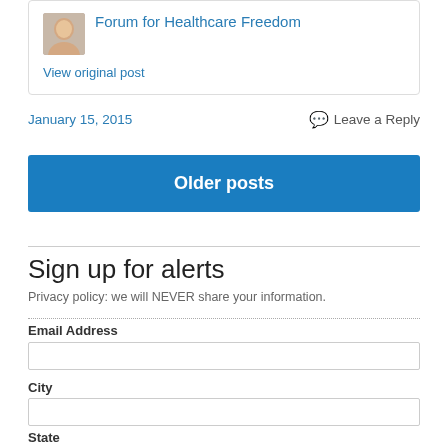Forum for Healthcare Freedom
View original post
January 15, 2015
Leave a Reply
Older posts
Sign up for alerts
Privacy policy: we will NEVER share your information.
Email Address
City
State